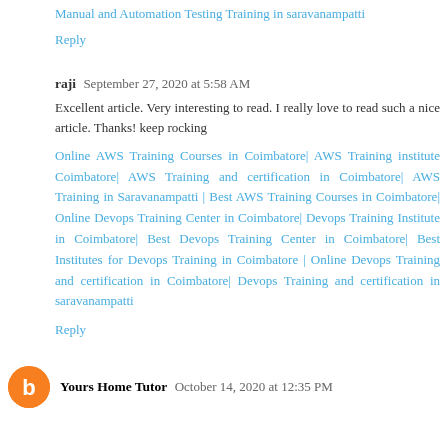Manual and Automation Testing Training in saravanampatti
Reply
raji  September 27, 2020 at 5:58 AM
Excellent article. Very interesting to read. I really love to read such a nice article. Thanks! keep rocking
Online AWS Training Courses in Coimbatore| AWS Training institute Coimbatore| AWS Training and certification in Coimbatore| AWS Training in Saravanampatti | Best AWS Training Courses in Coimbatore| Online Devops Training Center in Coimbatore| Devops Training Institute in Coimbatore| Best Devops Training Center in Coimbatore| Best Institutes for Devops Training in Coimbatore | Online Devops Training and certification in Coimbatore| Devops Training and certification in saravanampatti
Reply
Yours Home Tutor  October 14, 2020 at 12:35 PM